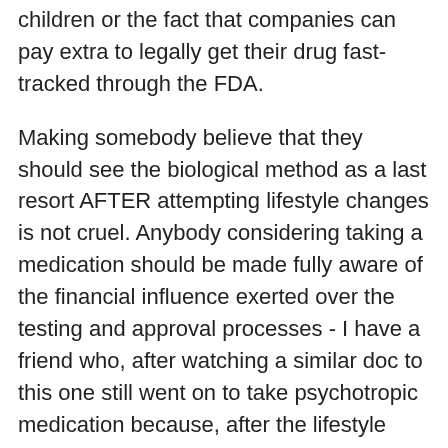children or the fact that companies can pay extra to legally get their drug fast-tracked through the FDA.
Making somebody believe that they should see the biological method as a last resort AFTER attempting lifestyle changes is not cruel. Anybody considering taking a medication should be made fully aware of the financial influence exerted over the testing and approval processes - I have a friend who, after watching a similar doc to this one still went on to take psychotropic medication because, after the lifestyle adjustments, he still felt it was necessary - but he was at least aware of the full picture.
Also, I think the term 'forced' can be applied to a professional armed with jargon and qualifications spinning the need for a drug to an often vulnerable and comparatively uninformed patient, not just